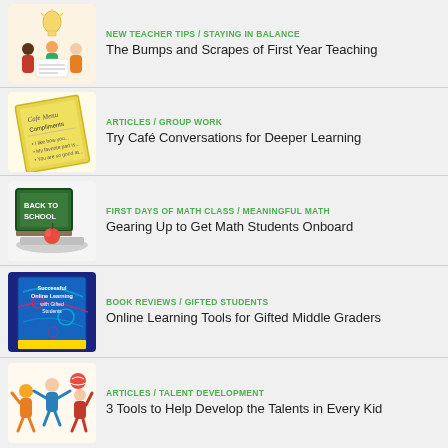NEW TEACHER TIPS / STAYING IN BALANCE — The Bumps and Scrapes of First Year Teaching
ARTICLES / GROUP WORK — Try Café Conversations for Deeper Learning
FIRST DAYS OF MATH CLASS / MEANINGFUL MATH — Gearing Up to Get Math Students Onboard
BOOK REVIEWS / GIFTED STUDENTS — Online Learning Tools for Gifted Middle Graders
ARTICLES / TALENT DEVELOPMENT — 3 Tools to Help Develop the Talents in Every Kid